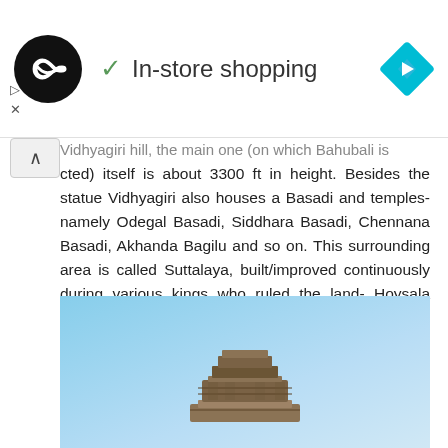[Figure (screenshot): Top UI bar with circular logo (black circle with white infinity/loop icon), checkmark 'In-store shopping' text, and a cyan navigation diamond arrow icon on the right]
Vidhyagiri hill, the main one (on which Bahubali is erected) itself is about 3300 ft in height. Besides the statue Vidhyagiri also houses a Basadi and temples- namely Odegal Basadi, Siddhara Basadi, Chennana Basadi, Akhanda Bagilu and so on. This surrounding area is called Suttalaya, built/improved continuously during various kings who ruled the land- Hoysala Kings, Mysore Wodeyars and others. Small size status of various Jain Thirthankaras are positioned all around the Gomateshwara statue.
[Figure (photo): Photo of a stone temple/statue structure against a light blue sky background, showing the top portion of what appears to be the Gomateshwara statue pedestal]